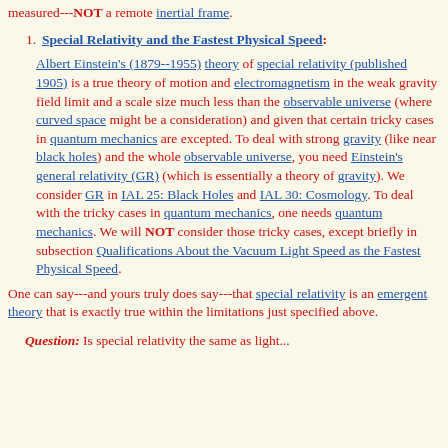measured---NOT a remote inertial frame.
Special Relativity and the Fastest Physical Speed: Albert Einstein's (1879--1955) theory of special relativity (published 1905) is a true theory of motion and electromagnetism in the weak gravity field limit and a scale size much less than the observable universe (where curved space might be a consideration) and given that certain tricky cases in quantum mechanics are excepted. To deal with strong gravity (like near black holes) and the whole observable universe, you need Einstein's general relativity (GR) (which is essentially a theory of gravity). We consider GR in IAL 25: Black Holes and IAL 30: Cosmology. To deal with the tricky cases in quantum mechanics, one needs quantum mechanics. We will NOT consider those tricky cases, except briefly in subsection Qualifications About the Vacuum Light Speed as the Fastest Physical Speed.
One can say---and yours truly does say---that special relativity is an emergent theory that is exactly true within the limitations just specified above.
Question: Is special relativity the same as light...